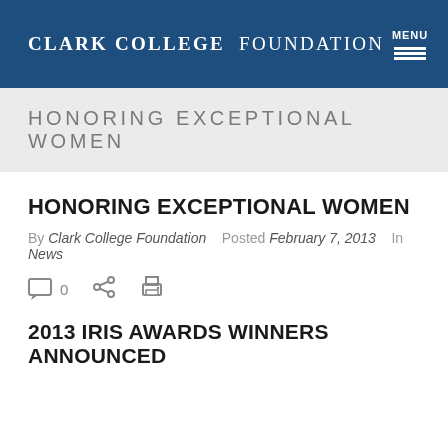Clark College Foundation | MENU
HONORING EXCEPTIONAL WOMEN
HONORING EXCEPTIONAL WOMEN
By Clark College Foundation  Posted February 7, 2013  In News
[Figure (infographic): Social action icons: comment bubble with count 0, share icon, print icon]
2013 IRIS AWARDS WINNERS ANNOUNCED